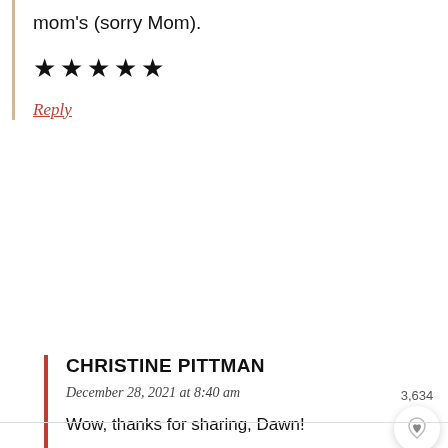mom's (sorry Mom).
★★★★★
Reply
CHRISTINE PITTMAN
December 28, 2021 at 8:40 am
Wow, thanks for sharing, Dawn!
Reply
3,634